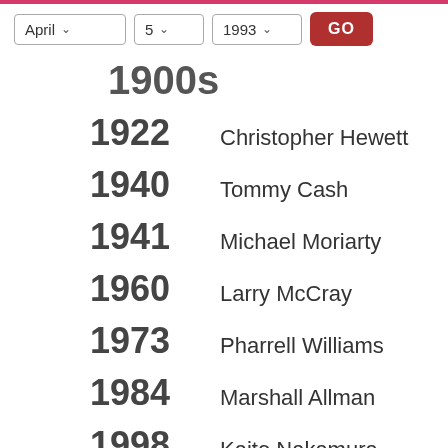April 5 1993 GO
1900s (partial year, cut off)
1922 Christopher Hewett
1940 Tommy Cash
1941 Michael Moriarty
1960 Larry McCray
1973 Pharrell Williams
1984 Marshall Allman
1998 Kaito Nakamura
View the complete list of April 5 celebrity birthdays